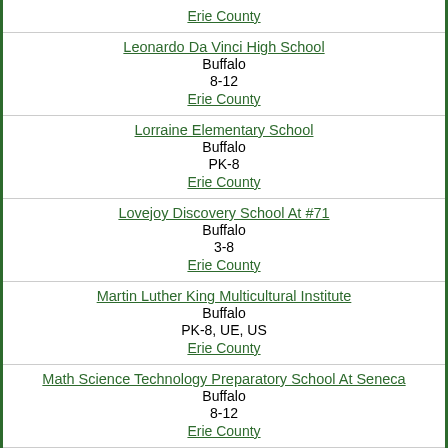| Erie County |
| Leonardo Da Vinci High School | Buffalo | 8-12 | Erie County |
| Lorraine Elementary School | Buffalo | PK-8 | Erie County |
| Lovejoy Discovery School At #71 | Buffalo | 3-8 | Erie County |
| Martin Luther King Multicultural Institute | Buffalo | PK-8, UE, US | Erie County |
| Math Science Technology Preparatory School At Seneca | Buffalo | 8-12 | Erie County |
| Mckinley High School | Buffalo | 8-12 |